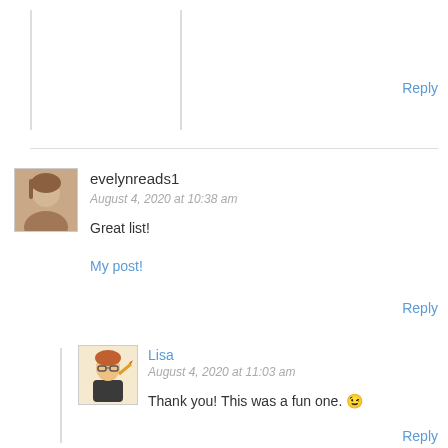[Figure (illustration): Avatar image placeholder with vertical lines at top left]
Reply
[Figure (photo): Avatar photo of evelynreads1 user]
evelynreads1
August 4, 2020 at 10:38 am
Great list!
My post!
Reply
[Figure (illustration): Avatar illustration of Lisa user]
Lisa
August 4, 2020 at 11:03 am
Thank you! This was a fun one. 😉
Reply